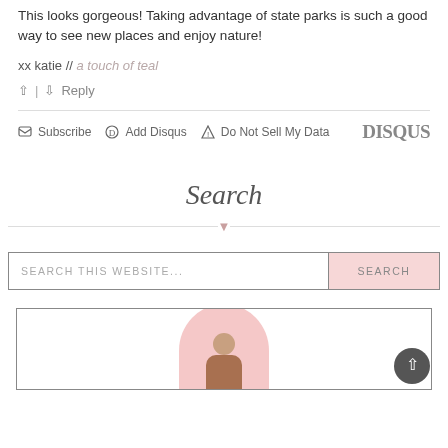This looks gorgeous! Taking advantage of state parks is such a good way to see new places and enjoy nature!
xx katie // a touch of teal
^ | v  Reply
Subscribe  Add Disqus  Do Not Sell My Data  DISQUS
Search
SEARCH THIS WEBSITE...  SEARCH
[Figure (illustration): About section with a person's photo over a pink circle background, inside a bordered box. A dark scroll-to-top button is in the bottom right corner.]